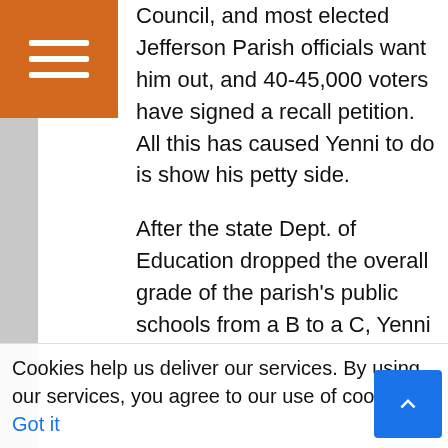[Figure (other): Orange hamburger menu icon in top-left corner]
Council, and most elected Jefferson Parish officials want him out, and 40-45,000 voters have signed a recall petition.  All this has caused Yenni to do is show his petty side.

After the state Dept. of Education dropped the overall grade of the parish's public schools from a B to a C, Yenni erected an education task force to figure out what went wrong.  Typically, that would be something for the school board to deal with, but apparently, Yenni was still feeling a little salty about being banned him from all public school campuses, so he overstepped them. This apparently does not fall under his promise to not let the scandal affect the parish's business, but it did inspire the head of
Cookies help us deliver our services. By using our services, you agree to our use of cookies.   Got it